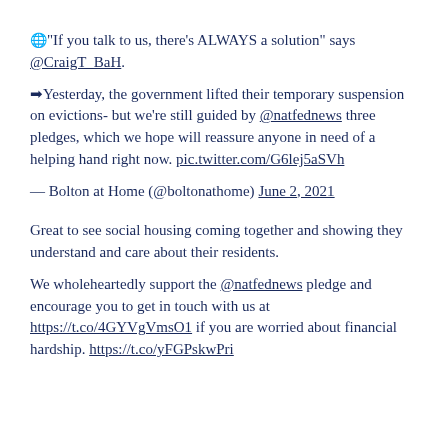🌐"If you talk to us, there's ALWAYS a solution" says @CraigT_BaH.
➡Yesterday, the government lifted their temporary suspension on evictions- but we're still guided by @natfednews three pledges, which we hope will reassure anyone in need of a helping hand right now. pic.twitter.com/G6lej5aSVh
— Bolton at Home (@boltonathome) June 2, 2021
Great to see social housing coming together and showing they understand and care about their residents.
We wholeheartedly support the @natfednews pledge and encourage you to get in touch with us at https://t.co/4GYVgVmsO1 if you are worried about financial hardship. https://t.co/yFGPskwPri